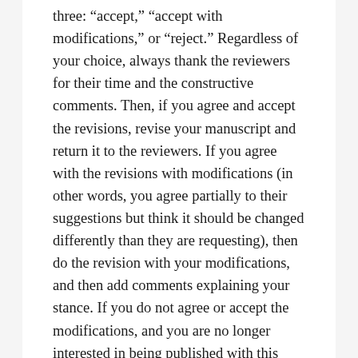three: “accept,” “accept with modifications,” or “reject.” Regardless of your choice, always thank the reviewers for their time and the constructive comments. Then, if you agree and accept the revisions, revise your manuscript and return it to the reviewers. If you agree with the revisions with modifications (in other words, you agree partially to their suggestions but think it should be changed differently than they are requesting), then do the revision with your modifications, and then add comments explaining your stance. If you do not agree or accept the modifications, and you are no longer interested in being published with this publication, simply respond with a thank you note for both their time and comments, and then be done with it. No matter what, always respond. It shows good character, and it builds your reputation in the